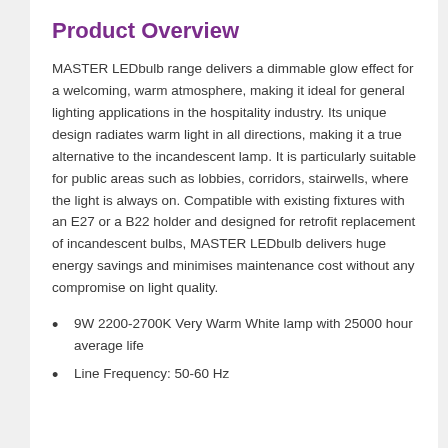Product Overview
MASTER LEDbulb range delivers a dimmable glow effect for a welcoming, warm atmosphere, making it ideal for general lighting applications in the hospitality industry. Its unique design radiates warm light in all directions, making it a true alternative to the incandescent lamp. It is particularly suitable for public areas such as lobbies, corridors, stairwells, where the light is always on. Compatible with existing fixtures with an E27 or a B22 holder and designed for retrofit replacement of incandescent bulbs, MASTER LEDbulb delivers huge energy savings and minimises maintenance cost without any compromise on light quality.
9W 2200-2700K Very Warm White lamp with 25000 hour average life
Line Frequency: 50-60 Hz